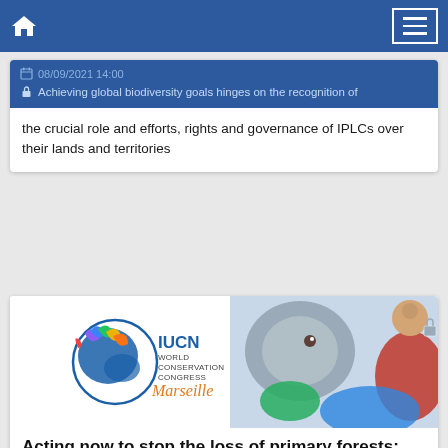Navigation bar with home icon and menu button
08/09/2021 14:00
Achieving global biodiversity goals hinges on the recognition of the crucial role and efforts, rights and governance of IPLCs over their lands and territories
[Figure (photo): IUCN World Conservation Congress Marseille banner with colorful nature imagery including elephant and other wildlife]
Acting now to stop the loss of primary forests: Countering the biodiversity and climate cr...
Replay – Accelerating climate ...
Replay – Managing landscapes f...
07/09/2021 14:00
Acting now to stop the loss of primary forests: Countering the